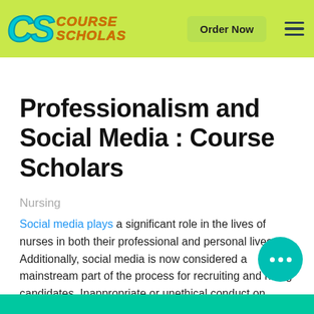Course Scholars — Order Now
Professionalism and Social Media : Course Scholars
Nursing
Social media plays a significant role in the lives of nurses in both their professional and personal lives. Additionally, social media is now considered a mainstream part of the process for recruiting and hiring candidates. Inappropriate or unethical conduct on social media can create legal problems for nurses as well as the field of nursing.